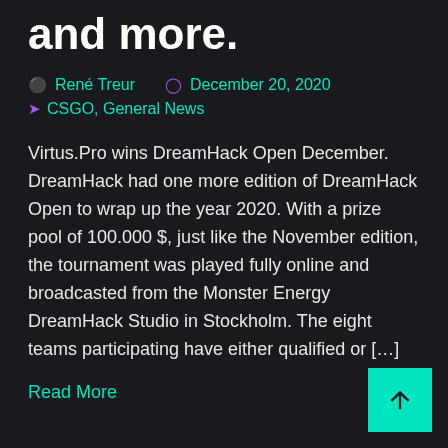and more.
René Treur   December 20, 2020
CSGO, General News
Virtus.Pro wins DreamHack Open December. DreamHack had one more edition of DreamHack Open to wrap up the year 2020. With a prize pool of 100.000 $, just like the November edition, the tournament was played fully online and broadcasted from the Monster Energy DreamHack Studio in Stockholm. The eight teams participating have either qualified or […]
Read More